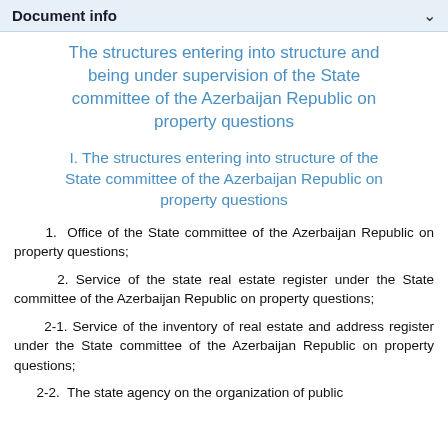Document info
The structures entering into structure and being under supervision of the State committee of the Azerbaijan Republic on property questions
I. The structures entering into structure of the State committee of the Azerbaijan Republic on property questions
1.  Office of the State committee of the Azerbaijan Republic on property questions;
2. Service of the state real estate register under the State committee of the Azerbaijan Republic on property questions;
2-1. Service of the inventory of real estate and address register under the State committee of the Azerbaijan Republic on property questions;
2-2.  The state agency on the organization of public